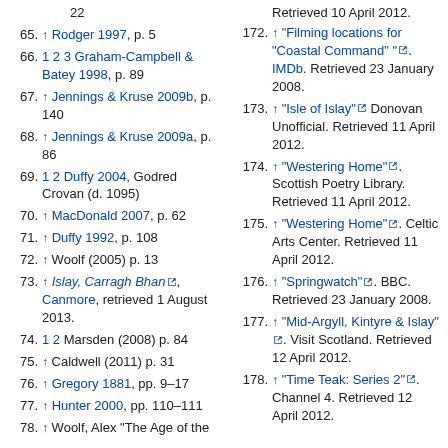64. [partial] ...Caldwell (2011) pp. 11–22
65. ↑ Rodger 1997, p. 5
66. 1 2 3 Graham-Campbell & Batey 1998, p. 89
67. ↑ Jennings & Kruse 2009b, p. 140
68. ↑ Jennings & Kruse 2009a, p. 86
69. 1 2 Duffy 2004, Godred Crovan (d. 1095)
70. ↑ MacDonald 2007, p. 62
71. ↑ Duffy 1992, p. 108
72. ↑ Woolf (2005) p. 13
73. ↑ Islay, Carragh Bhan, Canmore, retrieved 1 August 2013.
74. 1 2 Marsden (2008) p. 84
75. ↑ Caldwell (2011) p. 31
76. ↑ Gregory 1881, pp. 9–17
77. ↑ Hunter 2000, pp. 110–111
78. ↑ Woolf, Alex "The Age of the
172. ↑ "Filming locations for "Coastal Command" ". IMDb. Retrieved 23 January 2008.
173. ↑ "Isle of Islay" Donovan Unofficial. Retrieved 11 April 2012.
174. ↑ "Westering Home". Scottish Poetry Library. Retrieved 11 April 2012.
175. ↑ "Westering Home". Celtic Arts Center. Retrieved 11 April 2012.
176. ↑ "Springwatch". BBC. Retrieved 23 January 2008.
177. ↑ "Mid-Argyll, Kintyre & Islay". Visit Scotland. Retrieved 12 April 2012.
178. ↑ "Time Teak: Series 2". Channel 4. Retrieved 12 April 2012.